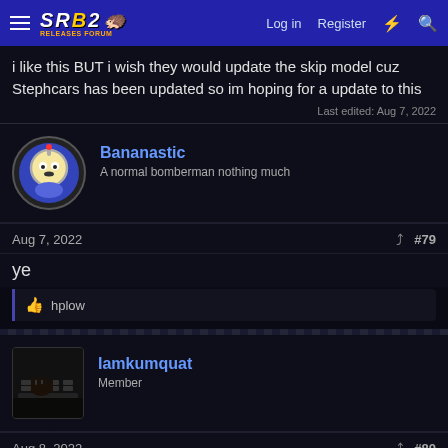SRB2 - Log in - Register
i like this BUT i wish they would update the skip model cuz Stephcars has been updated so im hoping for a update to this
Last edited: Aug 7, 2022
Bananastic
A normal bomberman nothing much
Aug 7, 2022  #79
ye
👍 hplow
Iamkumquat
Member
Aug 8, 2022  #80